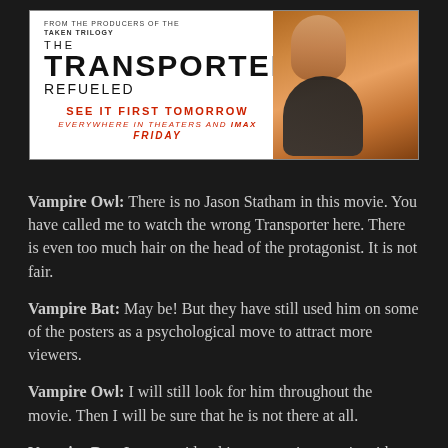[Figure (illustration): Movie promotional poster for 'The Transporter Refueled'. White background with black bold title text. Red text reads 'SEE IT FIRST TOMORROW' and 'EVERYWHERE IN THEATERS AND IMAX FRIDAY'. Top text reads 'FROM THE PRODUCERS OF THE TAKEN TRILOGY'. Right side shows a man figure in amber/orange tones.]
Vampire Owl: There is no Jason Statham in this movie. You have called me to watch the wrong Transporter here. There is even too much hair on the head of the protagonist. It is not fair.
Vampire Bat: May be! But they have still used him on some of the posters as a psychological move to attract more viewers.
Vampire Owl: I will still look for him throughout the movie. Then I will be sure that he is not there at all.
Vampire Bat: Lets consider this as an action movie with someone who is not Jason Statham, rather than as a Transporter movie. It